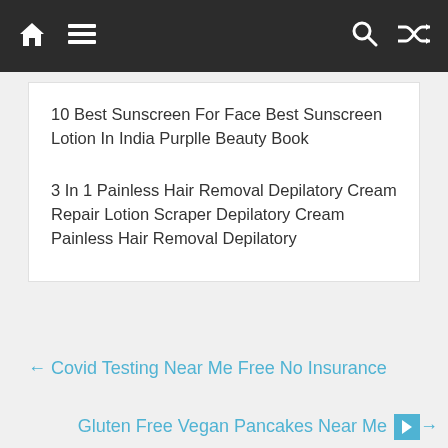Navigation bar with home, menu, search, and shuffle icons
10 Best Sunscreen For Face Best Sunscreen Lotion In India Purplle Beauty Book
3 In 1 Painless Hair Removal Depilatory Cream Repair Lotion Scraper Depilatory Cream Painless Hair Removal Depilatory
← Covid Testing Near Me Free No Insurance
Gluten Free Vegan Pancakes Near Me →